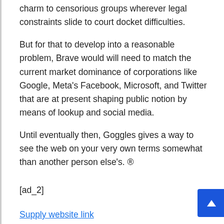charm to censorious groups wherever legal constraints slide to court docket difficulties.
But for that to develop into a reasonable problem, Brave would will need to match the current market dominance of corporations like Google, Meta's Facebook, Microsoft, and Twitter that are at present shaping public notion by means of lookup and social media.
Until eventually then, Goggles gives a way to see the web on your very own terms somewhat than another person else's. ®
[ad_2]
Supply website link